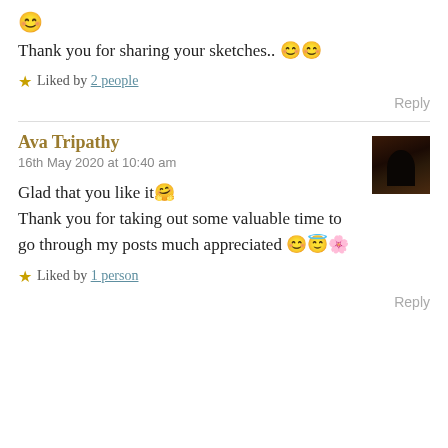😊 Thank you for sharing your sketches.. 😊😊
★ Liked by 2 people
Reply
Ava Tripathy
16th May 2020 at 10:40 am
[Figure (photo): Small avatar thumbnail showing a dark silhouette scene]
Glad that you like it🤗
Thank you for taking out some valuable time to go through my posts much appreciated 😊😇🌸
★ Liked by 1 person
Reply